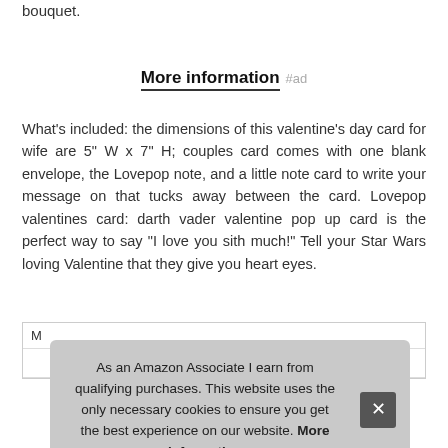bouquet.
More information #ad
What's included: the dimensions of this valentine's day card for wife are 5" W x 7" H; couples card comes with one blank envelope, the Lovepop note, and a little note card to write your message on that tucks away between the card. Lovepop valentines card: darth vader valentine pop up card is the perfect way to say "I love you sith much!" Tell your Star Wars loving Valentine that they give you heart eyes.
As an Amazon Associate I earn from qualifying purchases. This website uses the only necessary cookies to ensure you get the best experience on our website. More information